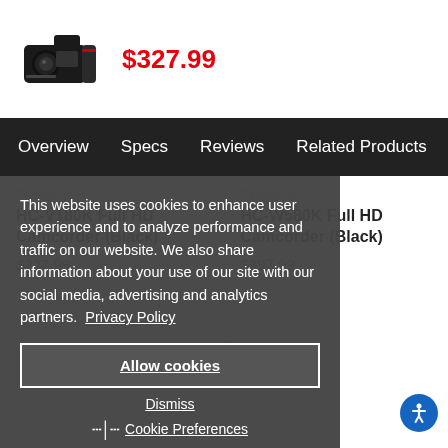[Figure (photo): Black Panasonic camcorder product image]
$327.99
Overview  Specs  Reviews  Related Products
Panasonic
HC-V180K Full HD Camcorder (Black)
$227.99
Panasonic
HC-W580K Full HD Camcorder (Black)
$397.99
This website uses cookies to enhance user experience and to analyze performance and traffic on our website. We also share information about your use of our site with our social media, advertising and analytics partners.  Privacy Policy
Allow cookies
Dismiss
Cookie Preferences